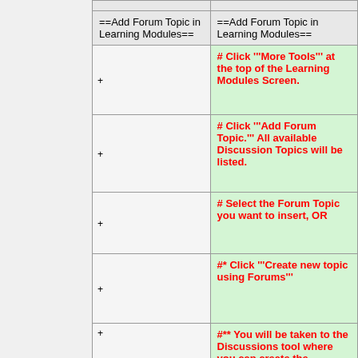| ==Add Forum Topic in Learning Modules== | ==Add Forum Topic in Learning Modules== |
| --- | --- |
|  | # Click '''More Tools''' at the top of the Learning Modules Screen. |
|  | # Click '''Add Forum Topic.''' All available Discussion Topics will be listed. |
|  | # Select the Forum Topic you want to insert, OR |
|  | #* Click '''Create new topic using Forums''' |
|  | #** You will be taken to the Discussions tool where you can create the... |